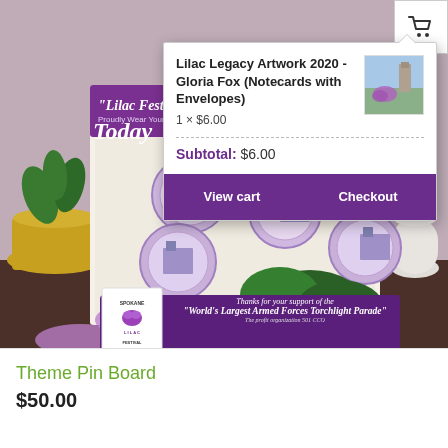[Figure (screenshot): E-commerce screenshot showing a shopping cart popup overlay on a product page. Background photo shows Lilac Festival Commemorative Pin display with a yellow plant pot, multiple round pins on cards, a Spokane Lilac Festival badge, and a purple bottom banner reading 'Thanks for your support of the World's Largest Armed Forces Torchlight Parade'. A purple banner at top reads 'Lilac Festival Commemorative Pin' and 'Proudly Wear Your Limited Edition'. A shopping cart popup shows: Lilac Legacy Artwork 2020 - Gloria Fox (Notecards with Envelopes), 1 × $6.00, Subtotal: $6.00, with View cart and Checkout buttons. Cart icon top right. Below the photo is a white product card.]
Lilac Legacy Artwork 2020 - Gloria Fox (Notecards with Envelopes)
1 × $6.00
Subtotal: $6.00
View cart
Checkout
Theme Pin Board
$50.00